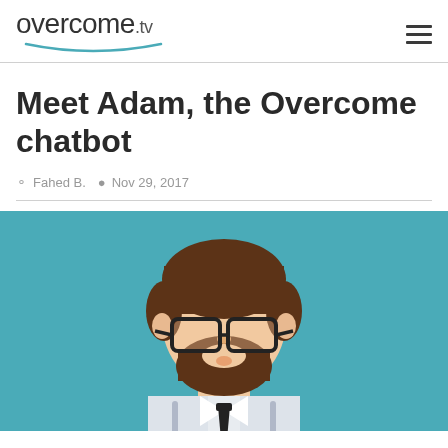overcome.tv
Meet Adam, the Overcome chatbot
Fahed B.  Nov 29, 2017
[Figure (illustration): Flat design illustration of a bearded man with glasses wearing a white shirt and dark tie, on a teal/turquoise background. The character represents Adam, the Overcome chatbot.]